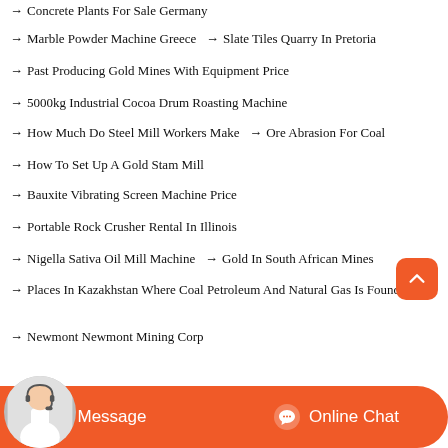→ Concrete Plants For Sale Germany
→ Marble Powder Machine Greece   → Slate Tiles Quarry In Pretoria
→ Past Producing Gold Mines With Equipment Price
→ 5000kg Industrial Cocoa Drum Roasting Machine
→ How Much Do Steel Mill Workers Make   → Ore Abrasion For Coal
→ How To Set Up A Gold Stam Mill
→ Bauxite Vibrating Screen Machine Price
→ Portable Rock Crusher Rental In Illinois
→ Nigella Sativa Oil Mill Machine   → Gold In South African Mines
→ Places In Kazakhstan Where Coal Petroleum And Natural Gas Is Found
→ Newmont Newmont Mining Corp
[Figure (illustration): Back to top button (orange rounded square with upward chevron)]
[Figure (illustration): Bottom bar with orange Message button and Online Chat button with headset icon and customer service representative avatar]